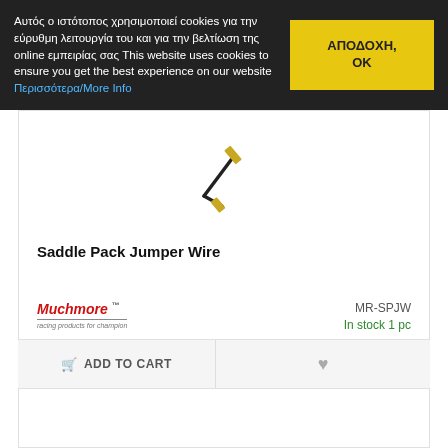Αυτός ο ιστότοπος χρησιμοποιεί cookies για την εύρυθμη λειτουργία του και για την βελτίωση της online εμπειρίας σας This website uses cookies to ensure you get the best experience on our website Περισσότερα/More Info
ΑΠΟΔΟΧΗ, OK
[Figure (photo): Saddle Pack Jumper Wire product image - a small angled connector/wire component on white background]
Saddle Pack Jumper Wire
Muchmore™
MR-SPJW
In stock 1 pc
5,49€
Batteries-Accessories
ADD TO CART